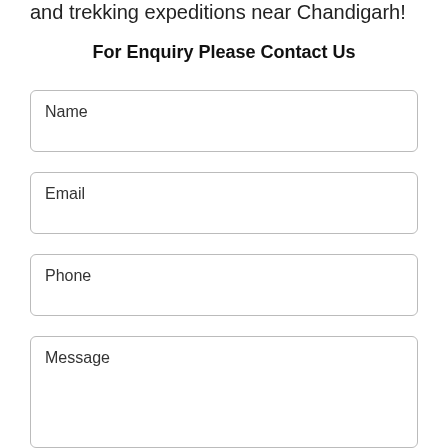and trekking expeditions near Chandigarh!
For Enquiry Please Contact Us
Name
Email
Phone
Message